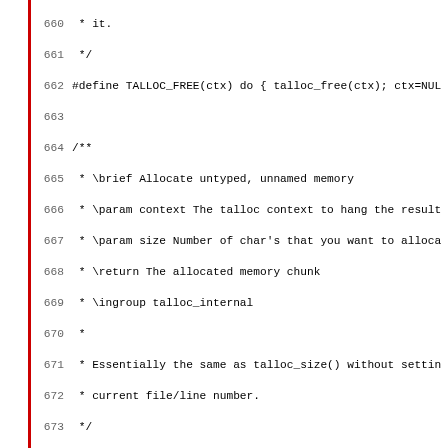[Figure (screenshot): Source code listing showing C header file lines 660-691, including TALLOC_FREE macro definition, _talloc function declaration, talloc pool documentation comment, and associated code comments. A red vertical bar appears on the left margin.]